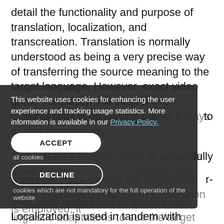detail the functionality and purpose of translation, localization, and transcreation. Translation is normally understood as being a very precise way of transferring the source meaning to the target language. However, exact video game translation will often prove unsuccessful in conveying the game's story and emotion so that it stays true to the original. To facilitate a game's ability to resonate powerfully with its target audience, the speakers said, wherever video games are concerned, the user-oriented practice of localization is employed, it frequently makes use of various non-linguistic adaptations to suit the target audience. Localization is used in tandem with transcreation or the reimagining of content. As a result, the original
[Figure (screenshot): Cookie consent overlay with dark background showing message: 'This website uses cookies for enhancing the user experience and tracking usage statistics. More information is available in our Privacy Policy.' Two buttons: ACCEPT (white rounded) and DECLINE (outlined rounded), with note about cookies not mandatory for website operation.]